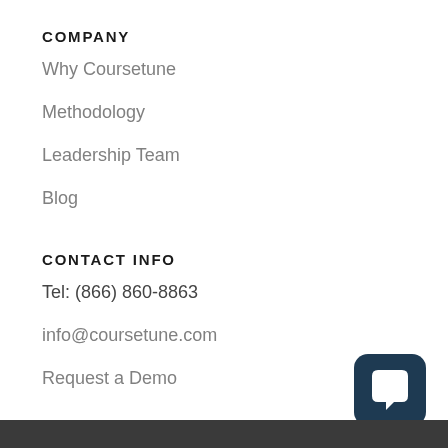COMPANY
Why Coursetune
Methodology
Leadership Team
Blog
CONTACT INFO
Tel: (866) 860-8863
info@coursetune.com
Request a Demo
[Figure (logo): Dark navy rounded square chat bubble icon in the bottom right corner]